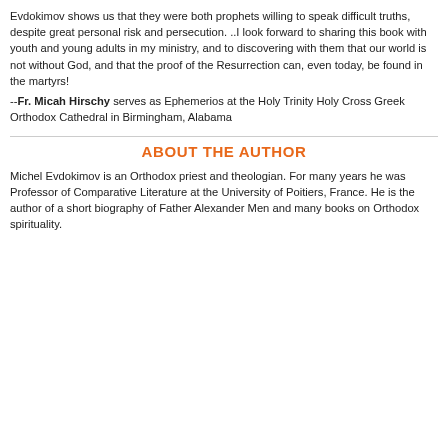Evdokimov shows us that they were both prophets willing to speak difficult truths, despite great personal risk and persecution. ..I look forward to sharing this book with youth and young adults in my ministry, and to discovering with them that our world is not without God, and that the proof of the Resurrection can, even today, be found in the martyrs!
--Fr. Micah Hirschy serves as Ephemerios at the Holy Trinity Holy Cross Greek Orthodox Cathedral in Birmingham, Alabama
ABOUT THE AUTHOR
Michel Evdokimov is an Orthodox priest and theologian. For many years he was Professor of Comparative Literature at the University of Poitiers, France. He is the author of a short biography of Father Alexander Men and many books on Orthodox spirituality.